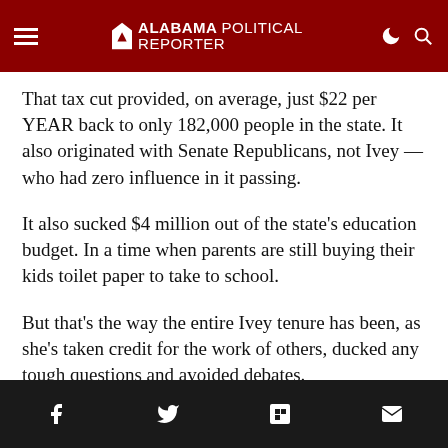Alabama Political Reporter
That tax cut provided, on average, just $22 per YEAR back to only 182,000 people in the state. It also originated with Senate Republicans, not Ivey — who had zero influence in it passing.
It also sucked $4 million out of the state's education budget. In a time when parents are still buying their kids toilet paper to take to school.
But that's the way the entire Ivey tenure has been, as she's taken credit for the work of others, ducked any tough questions and avoided debates.
At a point, you have to wonder if Republican voters are ever going to demand a...
Share icons: Facebook, Twitter, Flipboard, Email